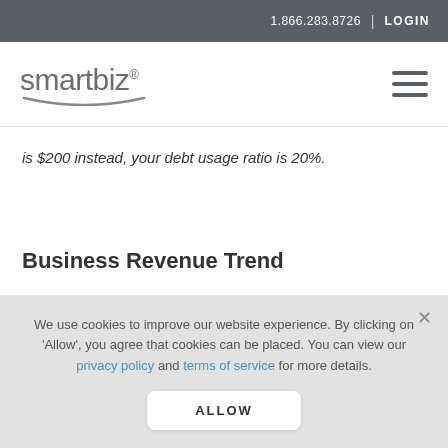1.866.283.8726 | LOGIN
[Figure (logo): SmartBiz logo with stylized underline swoosh]
is $200 instead, your debt usage ratio is 20%.
Business Revenue Trend
We use cookies to improve our website experience. By clicking on 'Allow', you agree that cookies can be placed. You can view our privacy policy and terms of service for more details.